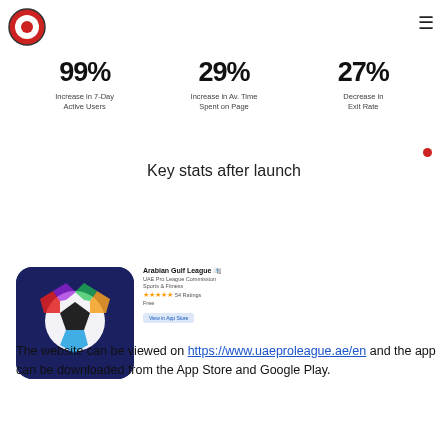[Figure (logo): Red circular logo with white inner ring and red center dot]
≡
99% Increase in 7-Day Active Users | 29% Increase in Av. Time Spent on Page | 27% Decrease in Exit Rate
Key stats after launch
[Figure (screenshot): Arabian Gulf League app store listing screenshot showing app icon, title, rating and Get button]
The website can be viewed on https://www.uaeproleague.ae/en and the app can be downloaded from the App Store and Google Play.